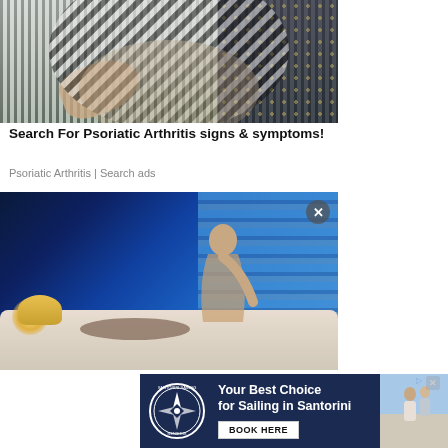[Figure (photo): Person in striped shirt with hands that appear to have psoriatic arthritis, against a green and dark dotted wallpaper background]
Search For Psoriatic Arthritis signs & symptoms!
Psoriatic Arthritis | Search ads
[Figure (photo): Couple in bed at night, woman sitting up looking at vertical blue blinds, man lying down, warm lamp glow on left side — advertisement image with close X button]
[Figure (infographic): Santorini Sailing Center advertisement banner: dark navy background with circular sailing logo on left, 'Your Best Choice for Sailing in Santorini' text with BOOK HERE button, and sailing couple photo on right]